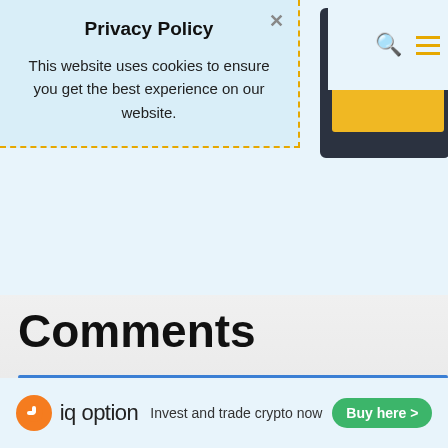Privacy Policy
This website uses cookies to ensure you get the best experience on our website.
[Figure (screenshot): Partially visible floppy disk icon with dark background and yellow rectangle, representing a website logo or icon]
Comments
[Figure (infographic): Bottom advertisement bar for IQ Option with orange logo icon, text 'iq option', subtext 'Invest and trade crypto now' and a green 'Buy here >' button]